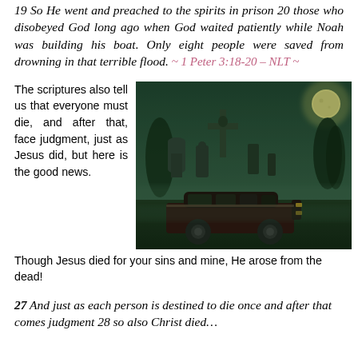19 So He went and preached to the spirits in prison 20 those who disobeyed God long ago when God waited patiently while Noah was building his boat. Only eight people were saved from drowning in that terrible flood. ~ 1 Peter 3:18-20 – NLT ~
The scriptures also tell us that everyone must die, and after that, face judgment, just as Jesus did, but here is the good news. Though Jesus died for your sins and mine, He arose from the dead!
[Figure (photo): A dark green-tinted cemetery scene at night with stone crosses and statues, a full moon in the upper right, and a dark hearse in the foreground.]
27 And just as each person is destined to die once and after that comes judgment 28 so also Christ died...